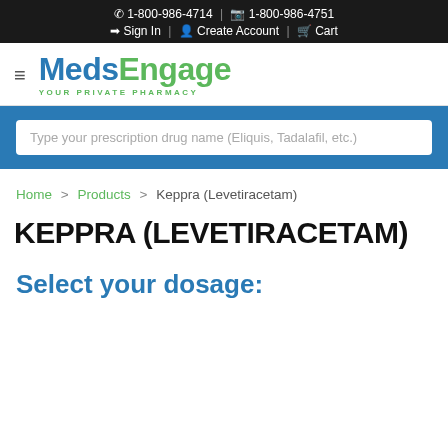1-800-986-4714 | 1-800-986-4751 | Sign In | Create Account | Cart
[Figure (logo): MedsEngage logo with tagline YOUR PRIVATE PHARMACY]
Type your prescription drug name (Eliquis, Tadalafil, etc.)
Home > Products > Keppra (Levetiracetam)
KEPPRA (LEVETIRACETAM)
Select your dosage: